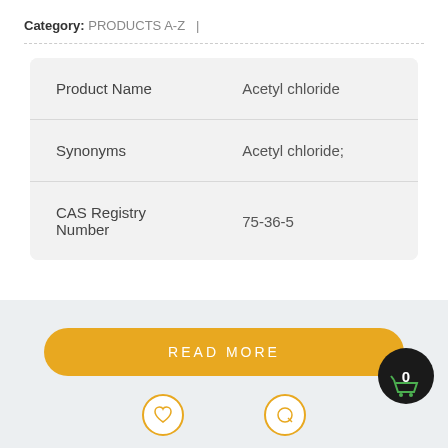Category: PRODUCTS A-Z  |
| Product Name | Acetyl chloride |
| Synonyms | Acetyl chloride; |
| CAS Registry Number | 75-36-5 |
READ MORE